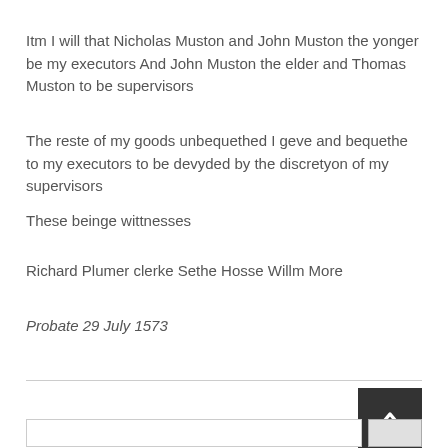Itm I will that Nicholas Muston and John Muston the yonger be my executors And John Muston the elder and Thomas Muston to be supervisors
The reste of my goods unbequethed I geve and bequethe to my executors to be devyded by the discretyon of my supervisors
These beinge wittnesses
Richard Plumer clerke Sethe Hosse Willm More
Probate 29 July 1573